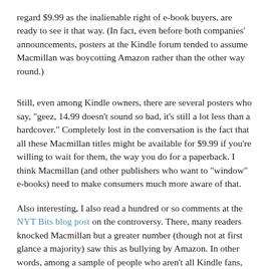regard $9.99 as the inalienable right of e-book buyers, are ready to see it that way. (In fact, even before both companies' announcements, posters at the Kindle forum tended to assume Macmillan was boycotting Amazon rather than the other way round.)
Still, even among Kindle owners, there are several posters who say, "geez, 14.99 doesn't sound so bad, it's still a lot less than a hardcover." Completely lost in the conversation is the fact that all these Macmillan titles might be available for $9.99 if you're willing to wait for them, the way you do for a paperback. I think Macmillan (and other publishers who want to "window" e-books) need to make consumers much more aware of that.
Also interesting, I also read a hundred or so comments at the NYT Bits blog post on the controversy. There, many readers knocked Macmillan but a greater number (though not at first glance a majority) saw this as bullying by Amazon. In other words, among a sample of people who aren't all Kindle fans, opinion is much more divided. (Naturally there are plenty of "plague on both their houses" opinions and a few gimlet-eyed, "hey, they're both just